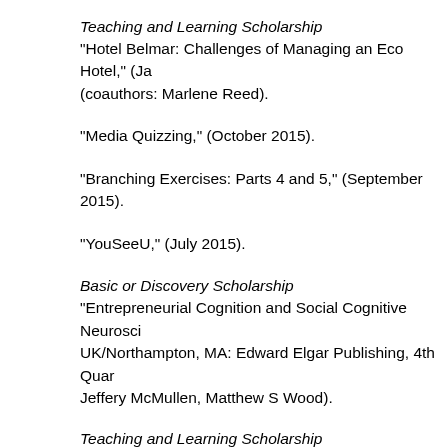Teaching and Learning Scholarship
"Hotel Belmar: Challenges of Managing an Eco Hotel," (Ja (coauthors: Marlene Reed).
"Media Quizzing," (October 2015).
"Branching Exercises: Parts 4 and 5," (September 2015).
"YouSeeU," (July 2015).
Basic or Discovery Scholarship
"Entrepreneurial Cognition and Social Cognitive Neurosci UK/Northampton, MA: Edward Elgar Publishing, 4th Quar Jeffery McMullen, Matthew S Wood).
Teaching and Learning Scholarship
"Andrew Mason and the Rise and Fall of Groupon," (Janu